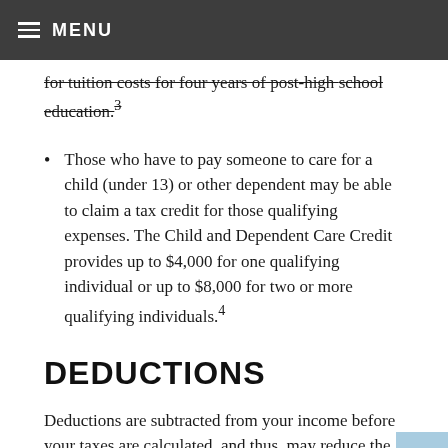MENU
for tuition costs for four years of post-high school education.³
Those who have to pay someone to care for a child (under 13) or other dependent may be able to claim a tax credit for those qualifying expenses. The Child and Dependent Care Credit provides up to $4,000 for one qualifying individual or up to $8,000 for two or more qualifying individuals.⁴
DEDUCTIONS
Deductions are subtracted from your income before your taxes are calculated, and thus, may reduce the amount of money on which you are taxed. Here are some common types of deductions: